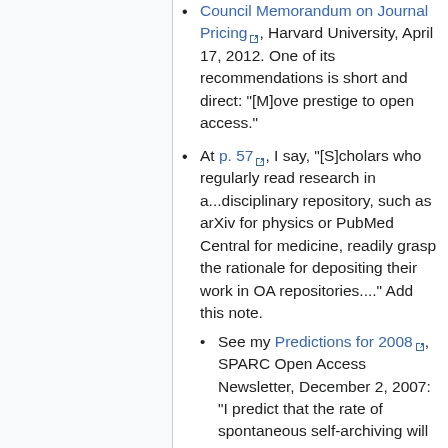Council Memorandum on Journal Pricing [external link], Harvard University, April 17, 2012. One of its recommendations is short and direct: "[M]ove prestige to open access."
At p. 57 [external link], I say, "[S]cholars who regularly read research in a...disciplinary repository, such as arXiv for physics or PubMed Central for medicine, readily grasp the rationale for depositing their work in OA repositories...." Add this note.
See my Predictions for 2008 [external link], SPARC Open Access Newsletter, December 2, 2007: "I predict that the rate of spontaneous self-archiving will start to rise significantly when the volume of